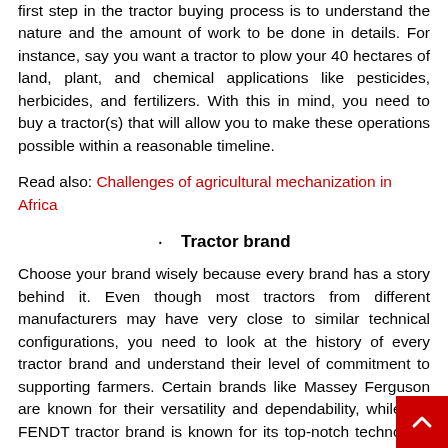first step in the tractor buying process is to understand the nature and the amount of work to be done in details. For instance, say you want a tractor to plow your 40 hectares of land, plant, and chemical applications like pesticides, herbicides, and fertilizers. With this in mind, you need to buy a tractor(s) that will allow you to make these operations possible within a reasonable timeline.
Read also: Challenges of agricultural mechanization in Africa
Tractor brand
Choose your brand wisely because every brand has a story behind it. Even though most tractors from different manufacturers may have very close to similar technical configurations, you need to look at the history of every tractor brand and understand their level of commitment to supporting farmers. Certain brands like Massey Ferguson are known for their versatility and dependability, while the FENDT tractor brand is known for its top-notch technology and excellent customer support. A brand is not only name, it's a story and history.